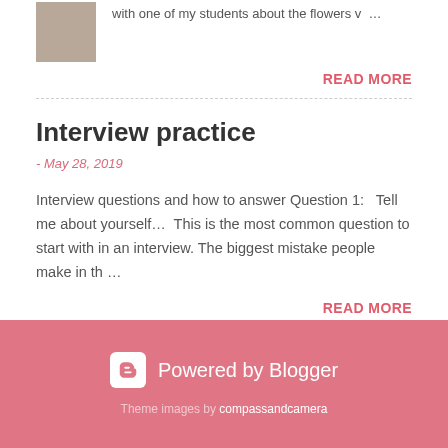[Figure (photo): Thumbnail photo showing a textured sandy or grainy surface]
with one of my students about the flowers v …
READ MORE
Interview practice
- May 28, 2019
Interview questions and how to answer Question 1:   Tell me about yourself…  This is the most common question to start with in an interview. The biggest mistake people make in th …
READ MORE
Powered by Blogger
Theme images by compassandcamera